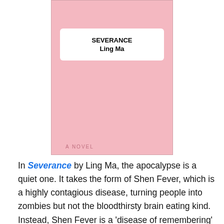[Figure (illustration): Book cover of 'Severance' by Ling Ma. Pink background with a white rounded rectangle label in the center showing 'SEVERANCE' and 'Ling Ma' in bold text. At the bottom left 'A NOVEL' appears in pink letters.]
In Severance by Ling Ma, the apocalypse is a quiet one. It takes the form of Shen Fever, which is a highly contagious disease, turning people into zombies but not the bloodthirsty brain eating kind. Instead, Shen Fever is a 'disease of remembering' that renders its victims harmless